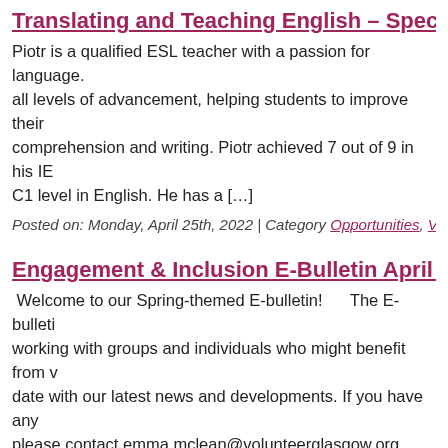Translating and Teaching English – Special C…
Piotr is a qualified ESL teacher with a passion for language. all levels of advancement, helping students to improve their comprehension and writing. Piotr achieved 7 out of 9 in his IE C1 level in English. He has a […]
Posted on: Monday, April 25th, 2022 | Category Opportunities, Volunteer, Vo…
Engagement & Inclusion E-Bulletin April 2022…
Welcome to our Spring-themed E-bulletin!      The E-bulleti working with groups and individuals who might benefit from v date with our latest news and developments. If you have any please contact emma.mclean@volunteerglasgow.org Give. G…
Posted on: Wednesday, April 13th, 2022 | Category Engagement eBulletin, …
Let Jean lead the way – Volunteer Special Off…
Jean is a qualified coach who can work 1-2-1 with people to develop self-understanding.